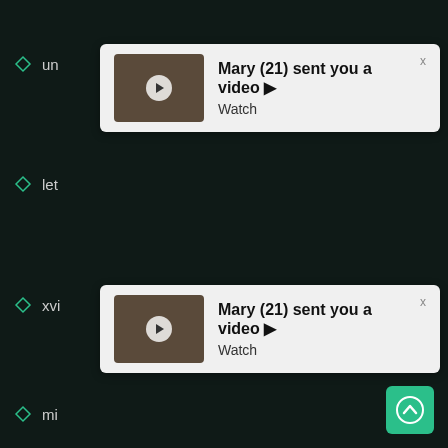un...
[Figure (screenshot): Popup notification: Mary (21) sent you a video. Watch]
let...
xvi...
[Figure (screenshot): Popup notification: Mary (21) sent you a video. Watch]
mi...
huge cock (1113)
small boobs (304)
old and young (647)
son (2245)
brother sister (1424)